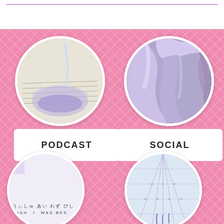[Figure (photo): White top bar area with purple horizontal decorative line]
[Figure (photo): Circular photo of water/liquid being poured into a glass bowl with purple tinted liquid, placed on a book or paper]
[Figure (photo): Circular photo of purple/lavender satin or silk fabric with soft folds]
PODCAST
SOCIAL
[Figure (photo): Circular photo showing Japanese text on white paper: うぃしゅ あい わず びし / WISH I WAS BES]
[Figure (photo): Circular photo of a pastel pink/blue holographic or iridescent surface with an umbrella-like grid pattern and purple drips]